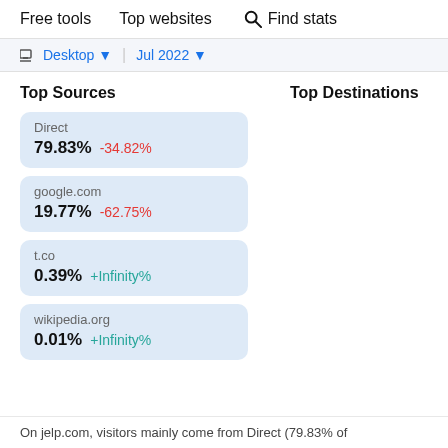Free tools   Top websites   Find stats
Desktop  |  Jul 2022
Top Sources
Top Destinations
Direct 79.83% -34.82%
google.com 19.77% -62.75%
t.co 0.39% +Infinity%
wikipedia.org 0.01% +Infinity%
On jelp.com, visitors mainly come from Direct (79.83% of